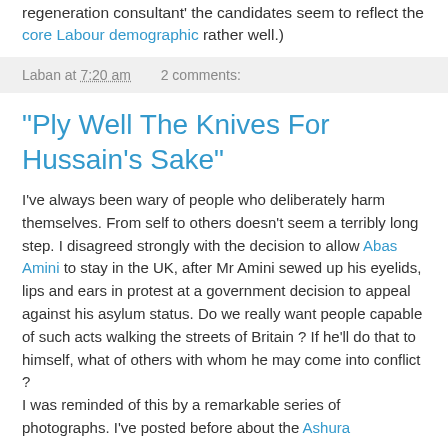regeneration consultant' the candidates seem to reflect the core Labour demographic rather well.)
Laban at 7:20 am   2 comments:
"Ply Well The Knives For Hussain's Sake"
I've always been wary of people who deliberately harm themselves. From self to others doesn't seem a terribly long step. I disagreed strongly with the decision to allow Abas Amini to stay in the UK, after Mr Amini sewed up his eyelids, lips and ears in protest at a government decision to appeal against his asylum status. Do we really want people capable of such acts walking the streets of Britain ? If he'll do that to himself, what of others with whom he may come into conflict ?
I was reminded of this by a remarkable series of photographs. I've posted before about the Ashura